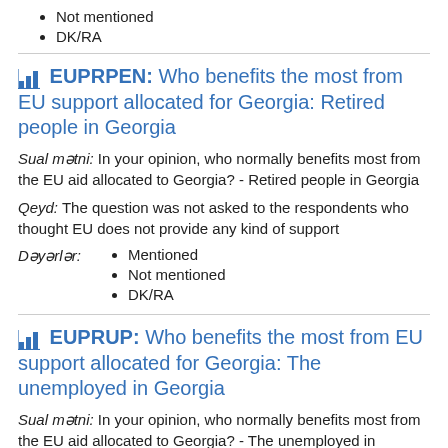Not mentioned
DK/RA
EUPRPEN: Who benefits the most from EU support allocated for Georgia: Retired people in Georgia
Sual mətni: In your opinion, who normally benefits most from the EU aid allocated to Georgia? - Retired people in Georgia
Qeyd: The question was not asked to the respondents who thought EU does not provide any kind of support
Dəyərlər: Mentioned, Not mentioned, DK/RA
Mentioned
Not mentioned
DK/RA
EUPRUP: Who benefits the most from EU support allocated for Georgia: The unemployed in Georgia
Sual mətni: In your opinion, who normally benefits most from the EU aid allocated to Georgia? - The unemployed in Georgia